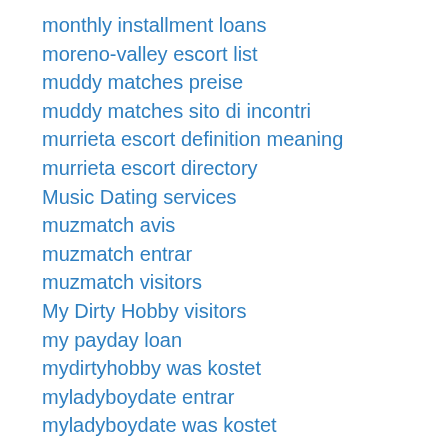monthly installment loans
moreno-valley escort list
muddy matches preise
muddy matches sito di incontri
murrieta escort definition meaning
murrieta escort directory
Music Dating services
muzmatch avis
muzmatch entrar
muzmatch visitors
My Dirty Hobby visitors
my payday loan
mydirtyhobby was kostet
myladyboydate entrar
myladyboydate was kostet